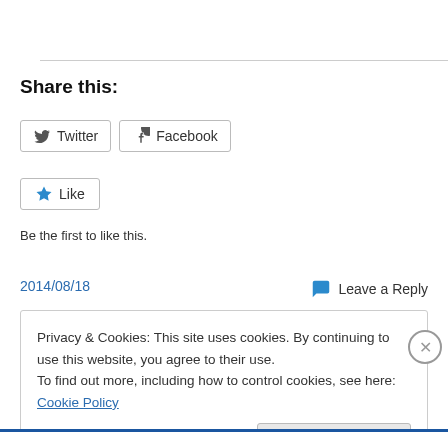Share this:
Twitter
Facebook
Like
Be the first to like this.
2014/08/18
Leave a Reply
Privacy & Cookies: This site uses cookies. By continuing to use this website, you agree to their use.
To find out more, including how to control cookies, see here: Cookie Policy
Close and accept